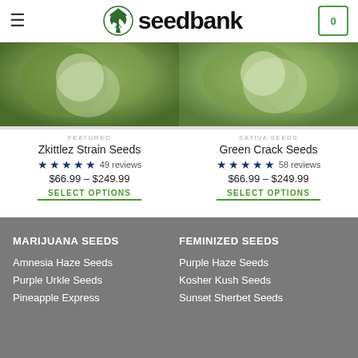seedbank
[Figure (photo): Cannabis plant with dense buds - Zkittlez Strain]
[Figure (photo): Cannabis plant with dense buds - Green Crack]
FEATURED
Zkittlez Strain Seeds
★★★★★ 49 reviews
$66.99 – $249.99
SELECT OPTIONS
SATIVA SEEDS
Green Crack Seeds
★★★★★ 58 reviews
$66.99 – $249.99
SELECT OPTIONS
MARIJUANA SEEDS
Amnesia Haze Seeds
Purple Urkle Seeds
Pineapple Express

FEMINIZED SEEDS
Purple Haze Seeds
Kosher Kush Seeds
Sunset Sherbet Seeds